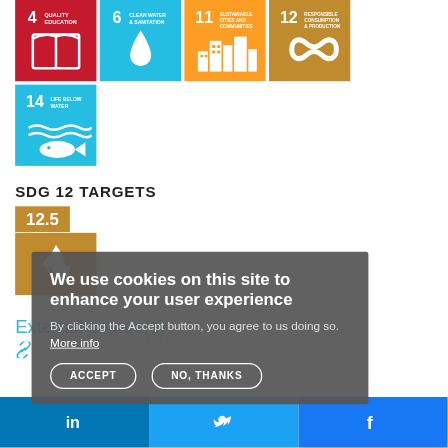[Figure (illustration): Row of 4 UN SDG icons: SDG 4 (Quality Education, red), SDG 6 (Clean Water, cyan), SDG 11 (Sustainable Cities, orange), SDG 12 (Responsible Consumption, gold/mustard)]
[Figure (illustration): SDG 14 Life Below Water icon (blue, large) with number 14, fish and waves symbol]
SDG 12 TARGETS
[Figure (illustration): SDG target 12.5 badge in gold/mustard color with recycling icon below]
External source(s)
[Figure (illustration): Cookie consent overlay: We use cookies on this site to enhance your user experience. By clicking the Accept button, you agree to us doing so. More info. Buttons: ACCEPT and NO, THANKS]
LinkedIn | Twitter | Facebook social share buttons